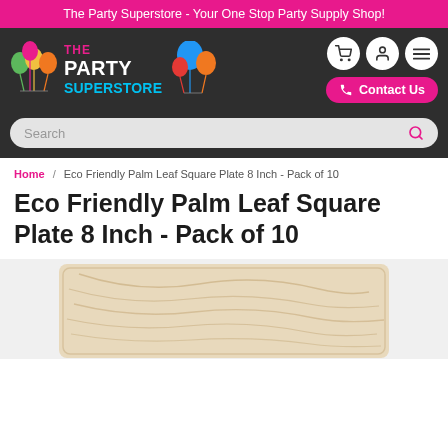The Party Superstore - Your One Stop Party Supply Shop!
[Figure (logo): The Party Superstore logo with colorful balloons]
Search
Home / Eco Friendly Palm Leaf Square Plate 8 Inch - Pack of 10
Eco Friendly Palm Leaf Square Plate 8 Inch - Pack of 10
[Figure (photo): Eco friendly palm leaf square plate product photo showing natural wood-grain textured plate]